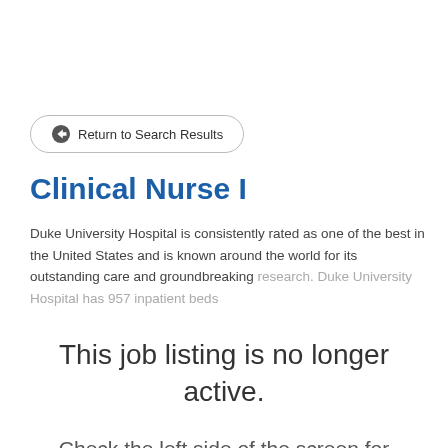Return to Search Results
Clinical Nurse I
Duke University Hospital is consistently rated as one of the best in the United States and is known around the world for its outstanding care and groundbreaking research. Duke University Hospital has 957 inpatient beds
This job listing is no longer active.
Check the left side of the screen for similar opportunities.